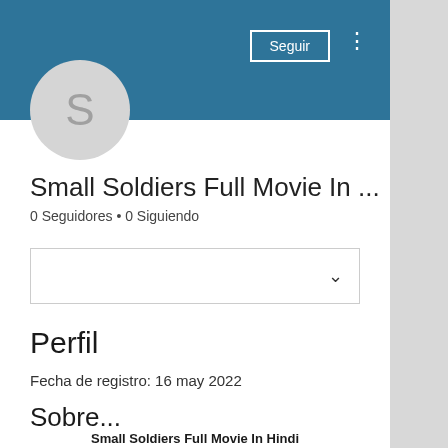[Figure (screenshot): User profile header banner in teal/dark blue color with Seguir button and three-dot menu]
[Figure (illustration): Circular avatar with letter S on grey background]
Small Soldiers Full Movie In ...
0 Seguidores • 0 Siguiendo
[Figure (screenshot): Dropdown selector box with chevron/down arrow]
Perfil
Fecha de registro: 16 may 2022
Sobre...
Small Soldiers Full Movie In Hindi Download ~UPD~